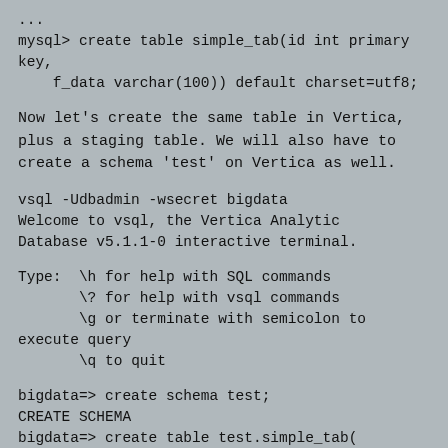...
mysql> create table simple_tab(id int primary key,
    f_data varchar(100)) default charset=utf8;
Now let's create the same table in Vertica, plus a staging table.  We will also have to create a schema 'test' on Vertica as well.
vsql -Udbadmin -wsecret bigdata
Welcome to vsql, the Vertica Analytic
Database v5.1.1-0 interactive terminal.
Type:  \h for help with SQL commands
       \? for help with vsql commands
       \g or terminate with semicolon to execute query
       \q to quit
bigdata=> create schema test;
CREATE SCHEMA
bigdata=> create table test.simple_tab(